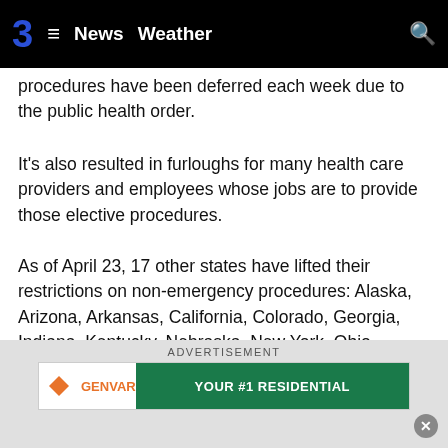3  ≡  News  Weather  🔍
procedures have been deferred each week due to the public health order.
It's also resulted in furloughs for many health care providers and employees whose jobs are to provide those elective procedures.
As of April 23, 17 other states have lifted their restrictions on non-emergency procedures: Alaska, Arizona, Arkansas, California, Colorado, Georgia, Indiana, Kentucky, Nebraska, New York, Ohio, Oklahoma, South Carolina, Tennessee, Texas, Utah, and West Virginia.
ADVERTISEMENT
[Figure (other): Advertisement banner showing GENVAR company logo and 'YOUR #1 RESIDENTIAL' text on green background]